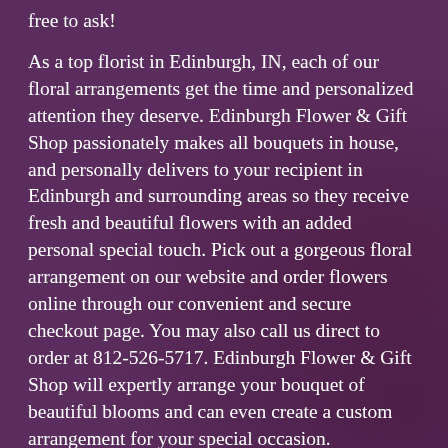free to ask!

As a top florist in Edinburgh, IN, each of our floral arrangements get the time and personalized attention they deserve. Edinburgh Flower & Gift Shop passionately makes all bouquets in house, and personally delivers to your recipient in Edinburgh and surrounding areas so they receive fresh and beautiful flowers with an added personal special touch. Pick out a gorgeous floral arrangement on our website and order flowers online through our convenient and secure checkout page. You may also call us direct to order at 812-526-5717. Edinburgh Flower & Gift Shop will expertly arrange your bouquet of beautiful blooms and can even create a custom arrangement for your special occasion.